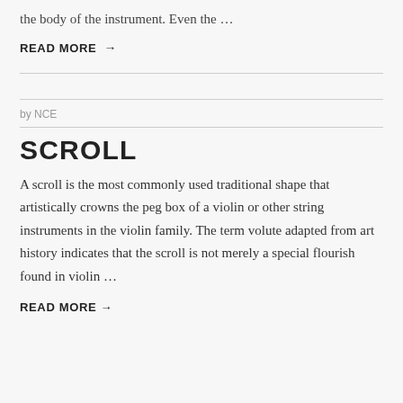the body of the instrument. Even the …
READ MORE →
by NCE
SCROLL
A scroll is the most commonly used traditional shape that artistically crowns the peg box of a violin or other string instruments in the violin family. The term volute adapted from art history indicates that the scroll is not merely a special flourish found in violin …
READ MORE →